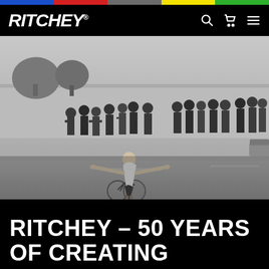RITCHEY® — navigation bar with search, cart, and menu icons
[Figure (photo): Black and white vintage photograph of a cyclist crossing a finish line with arms outstretched, crowd of spectators lining the road in the background, trees and a wall visible, outdoor daytime setting.]
RITCHEY – 50 YEARS OF CREATING